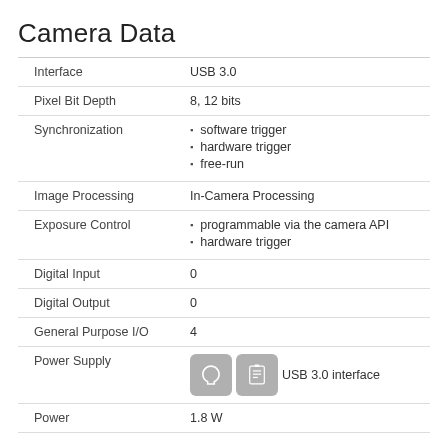Camera Data
| Property | Value |
| --- | --- |
| Interface | USB 3.0 |
| Pixel Bit Depth | 8, 12 bits |
| Synchronization | software trigger
hardware trigger
free-run |
| Image Processing | In-Camera Processing |
| Exposure Control | programmable via the camera API
hardware trigger |
| Digital Input | 0 |
| Digital Output | 0 |
| General Purpose I/O | 4 |
| Power Supply | USB 3.0 interface |
| Power | 1.8 W |